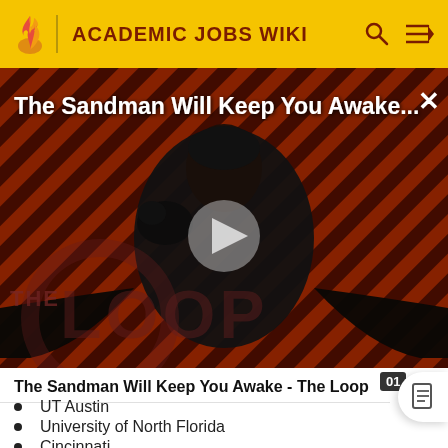ACADEMIC JOBS WIKI
[Figure (screenshot): Video thumbnail for 'The Sandman Will Keep You Awake - The Loop' showing a dark-caped figure against a red and black diagonal striped background, with a play button overlay and 'THE LOOP' watermark text. Title text reads 'The Sandman Will Keep You Awake...' with an X close button.]
The Sandman Will Keep You Awake - The Loop
UT Austin
University of North Florida
Cincinnati
Kansas College